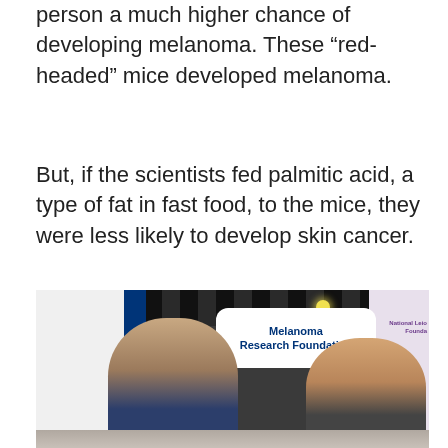person a much higher chance of developing melanoma. These “red-headed” mice developed melanoma.
But, if the scientists fed palmitic acid, a type of fat in fast food, to the mice, they were less likely to develop skin cancer.
[Figure (photo): Photo of two men smiling at a Melanoma Research Foundation conference booth. An MRF logo and 'TWENTIETH' text visible on the left side booth. A 'National Leiomyosarcoma Foundation' banner visible on the right. A white rounded sign reads 'Melanoma Research Foundation' in blue text.]